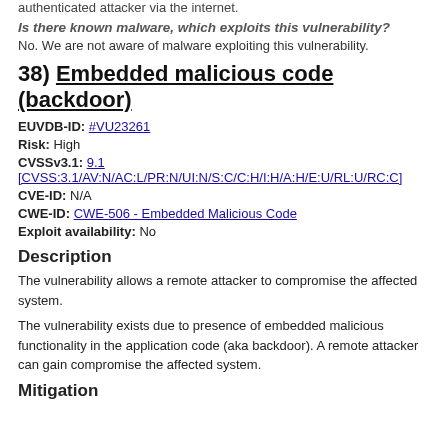authenticated attacker via the internet.
Is there known malware, which exploits this vulnerability?
No. We are not aware of malware exploiting this vulnerability.
38) Embedded malicious code (backdoor)
EUVDB-ID: #VU23261
Risk: High
CVSSv3.1: 9.1 [CVSS:3.1/AV:N/AC:L/PR:N/UI:N/S:C/C:H/I:H/A:H/E:U/RL:U/RC:C]
CVE-ID: N/A
CWE-ID: CWE-506 - Embedded Malicious Code
Exploit availability: No
Description
The vulnerability allows a remote attacker to compromise the affected system.
The vulnerability exists due to presence of embedded malicious functionality in the application code (aka backdoor). A remote attacker can gain compromise the affected system.
Mitigation